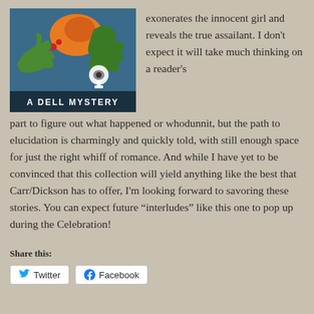[Figure (illustration): Book cover of a Dell Mystery novel showing stylized illustration of green clawed hands reaching toward a woman, with an eye in a keyhole motif and the text 'A DELL MYSTERY' at the bottom]
exonerates the innocent girl and reveals the true assailant. I don't expect it will take much thinking on a reader's part to figure out what happened or whodunnit, but the path to elucidation is charmingly and quickly told, with still enough space for just the right whiff of romance. And while I have yet to be convinced that this collection will yield anything like the best that Carr/Dickson has to offer, I'm looking forward to savoring these stories. You can expect future “interludes” like this one to pop up during the Celebration!
Share this:
Twitter
Facebook